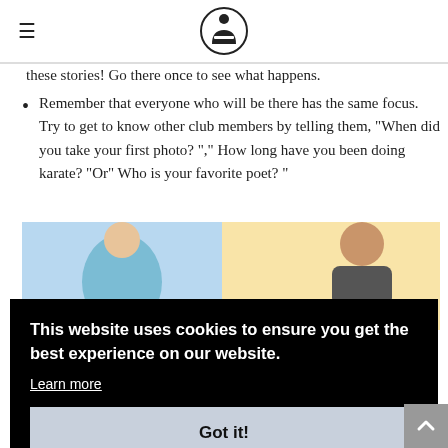[logo: person reading icon]
these stories! Go there once to see what happens.
Remember that everyone who will be there has the same focus. Try to get to know other club members by telling them, “When did you take your first photo? “,” How long have you been doing karate? "Or" Who is your favorite poet? "
[Figure (illustration): Partial illustration showing two people, colorful background with blue and yellow tones]
This website uses cookies to ensure you get the best experience on our website.
Learn more
Got it!